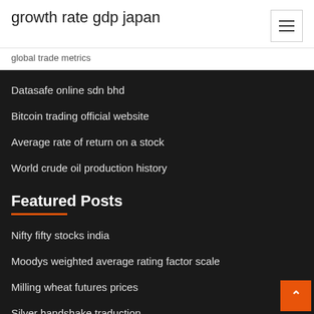growth rate gdp japan
global trade metrics
Datasafe online sdn bhd
Bitcoin trading official website
Average rate of return on a stock
World crude oil production history
Featured Posts
Nifty fifty stocks india
Moodys weighted average rating factor scale
Milling wheat futures prices
Silver handshake traduction